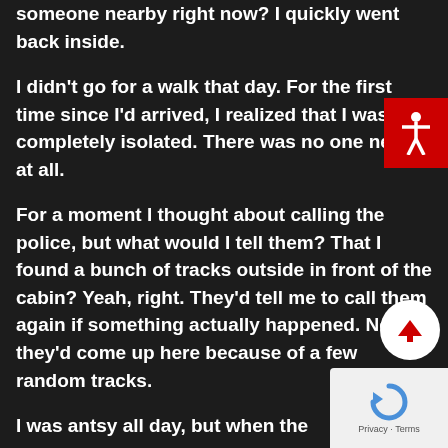someone nearby right now?  I quickly went back inside.
I didn't go for a walk that day.  For the first time since I'd arrived, I realized that I was completely isolated.  There was no one nearby at all.
For a moment I thought about calling the police, but what would I tell them?  That I found a bunch of tracks outside in front of the cabin?  Yeah, right.  They'd tell me to call them again if something actually happened.  No way they'd come up here because of a few random tracks.
I was antsy all day, but when the